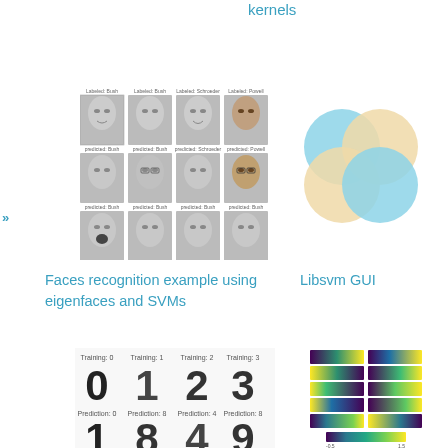kernels
[Figure (photo): Grid of 12 grayscale face photos arranged in 3 rows and 4 columns - faces recognition example thumbnails]
[Figure (illustration): Libsvm GUI logo - four overlapping colored circles (blue top-left, yellow top-right, yellow bottom-left, blue bottom-right) in a flower pattern]
Faces recognition example using eigenfaces and SVMs
Libsvm GUI
[Figure (photo): Digit recognition example showing handwritten digits 0,1,2,3 as training samples and 1,8,4,9 as predictions]
[Figure (other): Grid of colormap visualizations with yellow-purple-green color scheme, arranged in rows and columns]